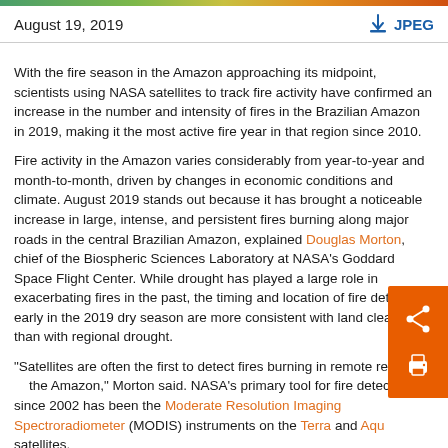August 19, 2019 | JPEG
With the fire season in the Amazon approaching its midpoint, scientists using NASA satellites to track fire activity have confirmed an increase in the number and intensity of fires in the Brazilian Amazon in 2019, making it the most active fire year in that region since 2010.
Fire activity in the Amazon varies considerably from year-to-year and month-to-month, driven by changes in economic conditions and climate. August 2019 stands out because it has brought a noticeable increase in large, intense, and persistent fires burning along major roads in the central Brazilian Amazon, explained Douglas Morton, chief of the Biospheric Sciences Laboratory at NASA's Goddard Space Flight Center. While drought has played a large role in exacerbating fires in the past, the timing and location of fire detections early in the 2019 dry season are more consistent with land clearing than with regional drought.
“Satellites are often the first to detect fires burning in remote regions of the Amazon,” Morton said. NASA’s primary tool for fire detection since 2002 has been the Moderate Resolution Imaging Spectroradiometer (MODIS) instruments on the Terra and Aqua satellites.